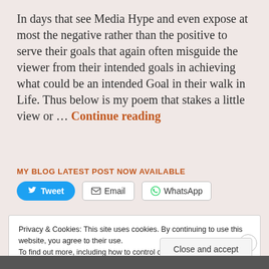In days that see Media Hype and even expose at most the negative rather than the positive to serve their goals that again often misguide the viewer from their intended goals in achieving what could be an intended Goal in their walk in Life. Thus below is my poem that stakes a little view or … Continue reading
MY BLOG LATEST POST NOW AVAILABLE
Tweet  Email  WhatsApp
Privacy & Cookies: This site uses cookies. By continuing to use this website, you agree to their use.
To find out more, including how to control cookies, see here:
Cookie Policy
Close and accept